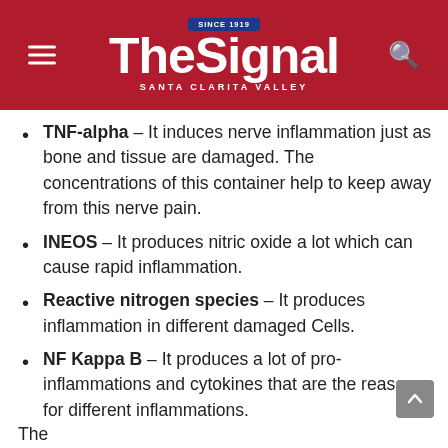The Signal – Santa Clarita Valley
TNF-alpha – It induces nerve inflammation just as bone and tissue are damaged. The concentrations of this container help to keep away from this nerve pain.
INEOS – It produces nitric oxide a lot which can cause rapid inflammation.
Reactive nitrogen species – It produces inflammation in different damaged Cells.
NF Kappa B – It produces a lot of pro-inflammations and cytokines that are the reason for different inflammations.
The...